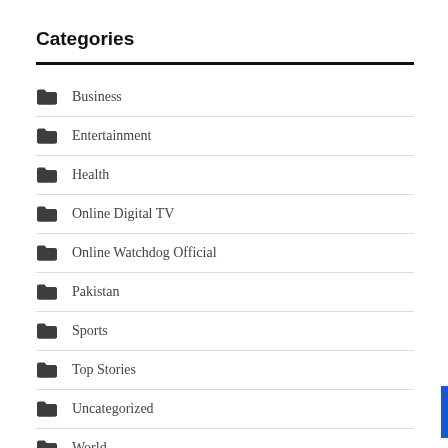Categories
Business
Entertainment
Health
Online Digital TV
Online Watchdog Official
Pakistan
Sports
Top Stories
Uncategorized
World